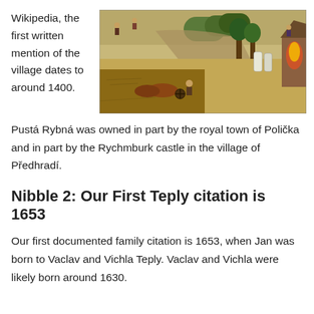Wikipedia, the first written mention of the village dates to around 1400.
[Figure (illustration): Medieval painting depicting rural agricultural scene with peasants plowing fields with oxen, figures in landscape with trees and buildings in background.]
Pustá Rybná was owned in part by the royal town of Polička and in part by the Rychmburk castle in the village of Předhradí.
Nibble 2: Our First Teply citation is 1653
Our first documented family citation is 1653, when Jan was born to Vaclav and Vichla Teply. Vaclav and Vichla were likely born around 1630.